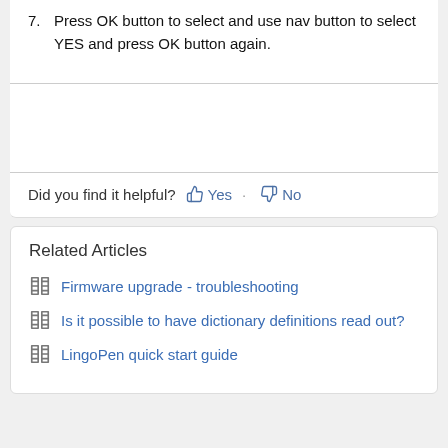7. Press OK button to select and use nav button to select YES and press OK button again.
Did you find it helpful? Yes No
Related Articles
Firmware upgrade - troubleshooting
Is it possible to have dictionary definitions read out?
LingoPen quick start guide